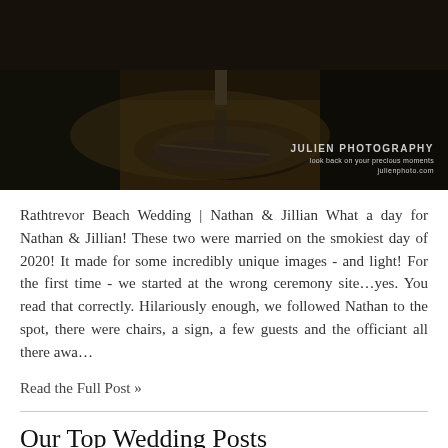[Figure (photo): Outdoor wedding photo at Rathtrevor Beach, showing a person standing near a muddy water area with dark moody lighting; watermark reads JULIEN PHOTOGRAPHY]
Rathtrevor Beach Wedding | Nathan & Jillian What a day for Nathan & Jillian! These two were married on the smokiest day of 2020! It made for some incredibly unique images - and light! For the first time - we started at the wrong ceremony site…yes. You read that correctly. Hilariously enough, we followed Nathan to the spot, there were chairs, a sign, a few guests and the officiant all there awa...
Read the Full Post »
Our Top Wedding Posts
May 18, 2020    Leave a Comment
[Figure (photo): Bottom strip of a dark outdoor photo, partially visible]